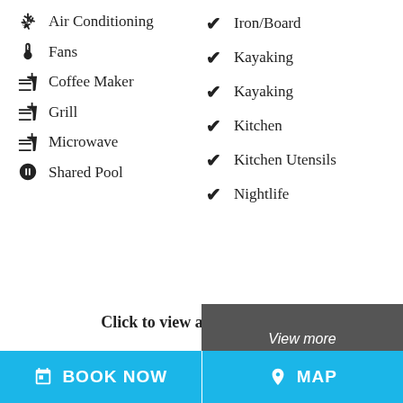Air Conditioning
Iron/Board
Fans
Kayaking
Coffee Maker
Kayaking
Grill
Kitchen
Microwave
Kitchen Utensils
Shared Pool
Nightlife
Click to view all 53 amenities
[Figure (screenshot): Map preview thumbnail showing dark background with 'View more' text overlay]
BOOK NOW   MAP